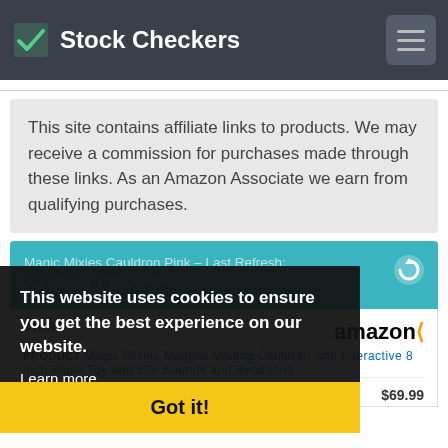Stock Checkers
This site contains affiliate links to products. We may receive a commission for purchases made through these links. As an Amazon Associate we earn from qualifying purchases.
Magic Mixies Cauldron Pink - Last Refresh: 22/08/2022 3:15:05 PM
| STORE |  |
| --- | --- |
|  | amazon |
| PRODUCT | Magic Mixies Magical Misting Cauldron with Interactive 8 Inch Plush Toy and 50+ Sounds and Reactions |
| PRICE | $69.99 |
This website uses cookies to ensure you get the best experience on our website. Learn more
Got it!